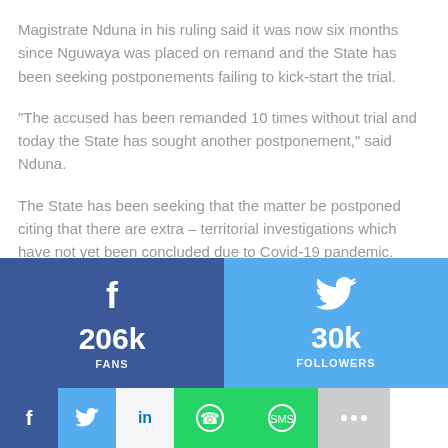Magistrate Nduna in his ruling said it was now six months since Nguwaya was placed on remand and the State has been seeking postponements failing to kick-start the trial.
"The accused has been remanded 10 times without trial and today the State has sought another postponement," said Nduna.
The State has been seeking that the matter be postponed citing that there are extra – territorial investigations which have not yet been concluded due to Covid-19 pandemic.
[Figure (infographic): Social media stats bar showing Facebook 206k FANS and Twitter 30k FOLLOWERS, followed by share buttons for Facebook, Twitter, LinkedIn, WhatsApp, SMS, and More.]